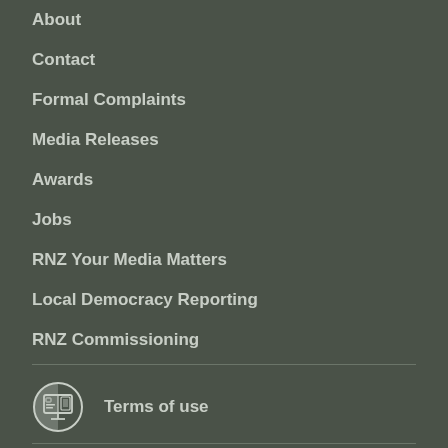About
Contact
Formal Complaints
Media Releases
Awards
Jobs
RNZ Your Media Matters
Local Democracy Reporting
RNZ Commissioning
Terms of use
© Copyright Radio New Zealand 2022